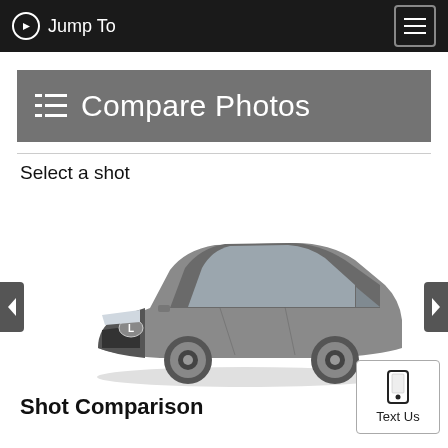Jump To
Compare Photos
Select a shot
[Figure (photo): A gray/silver Lexus sedan (IS series) photographed from a front three-quarter angle on a white background]
Shot Comparison
Text Us